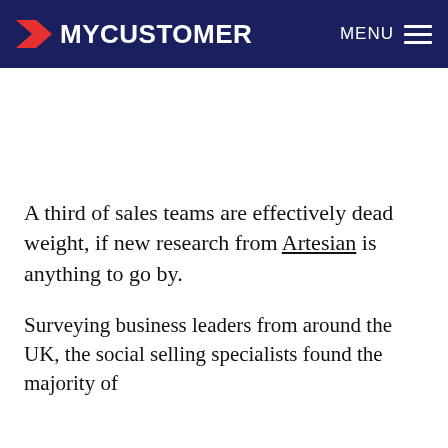MYCUSTOMER  MENU
A third of sales teams are effectively dead weight, if new research from Artesian is anything to go by.
Surveying business leaders from around the UK, the social selling specialists found the majority of